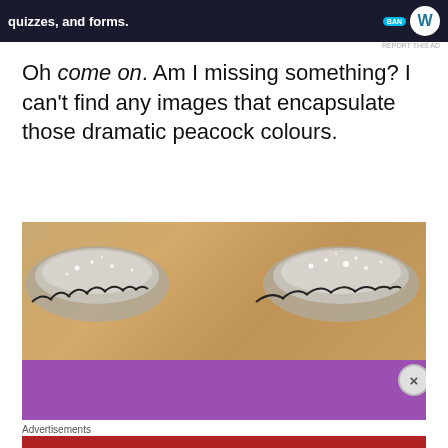[Figure (screenshot): Top advertisement banner with dark background showing 'quizzes, and forms.' text with WordPress logo]
Oh come on. Am I missing something? I can't find any images that encapsulate those dramatic peacock colours.
[Figure (photo): Close-up photo of woman's eyes with silver glitter eyeshadow and dramatic false lashes, with purple bar overlay at bottom]
Advertisements
[Figure (screenshot): Macy's advertisement: KISS BORING LIPS GOODBYE with red lips image and SHOP NOW button]